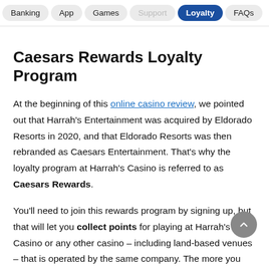Banking  App  Games  Support  Loyalty  FAQs
Caesars Rewards Loyalty Program
At the beginning of this online casino review, we pointed out that Harrah's Entertainment was acquired by Eldorado Resorts in 2020, and that Eldorado Resorts was then rebranded as Caesars Entertainment. That's why the loyalty program at Harrah's Casino is referred to as Caesars Rewards.
You'll need to join this rewards program by signing up, but that will let you collect points for playing at Harrah's Casino or any other casino – including land-based venues – that is operated by the same company. The more you play, the more points you will earn, and you can exchange points for all